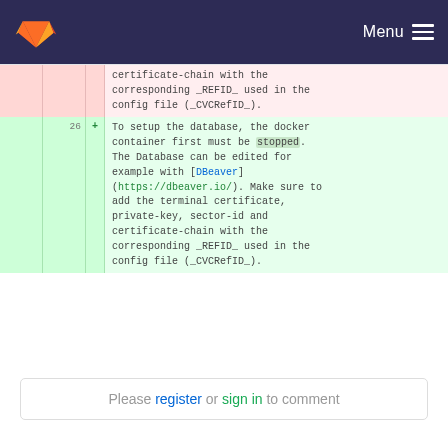Menu
| old | new | sign | code |
| --- | --- | --- | --- |
|  |  | - | certificate-chain with the corresponding _REFID_ used in the config file (_CVCRefID_). |
|  | 26 | + | To setup the database, the docker container first must be stopped. The Database can be edited for example with [DBeaver](https://dbeaver.io/). Make sure to add the terminal certificate, private-key, sector-id and certificate-chain with the corresponding _REFID_ used in the config file (_CVCRefID_). |
Please register or sign in to comment